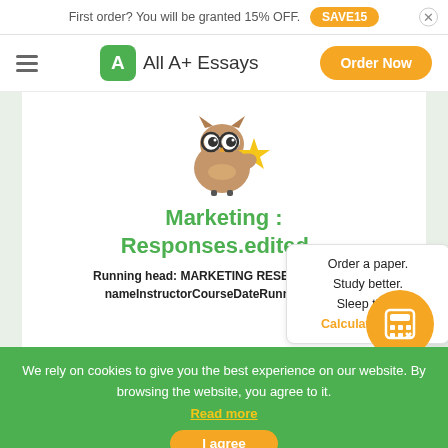First order? You will be granted 15% OFF. SAVE15
[Figure (logo): All A+ Essays logo with green owl icon and orange Order Now button navigation bar]
[Figure (illustration): Cartoon owl mascot holding a gold star]
Marketing : Responses.edited...
Running head: MARKETING RESEARCH1YournameInstructorCourseDateRunning head:
Order a paper. Study better. Sleep tight. Calculate Price!
We rely on cookies to give you the best experience on our website. By browsing the website, you agree to it. Read more
I agree